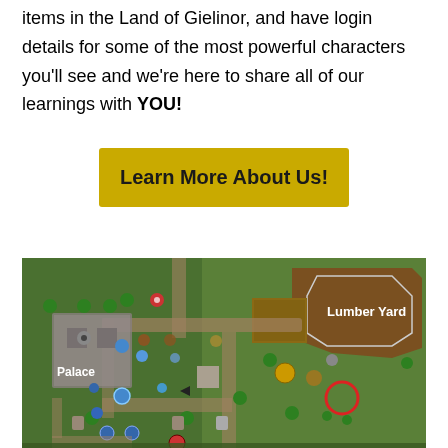items in the Land of Gielinor, and have login details for some of the most powerful characters you'll see and we're here to share all of our learnings with YOU!
[Figure (other): Yellow button with text 'Learn More About Us!']
[Figure (map): A game map screenshot from Old School RuneScape showing areas labelled 'Palace' on the left and 'Lumber Yard' on the upper right, with a red circle marker near the right side, various colored icons representing NPCs and items across a green terrain.]